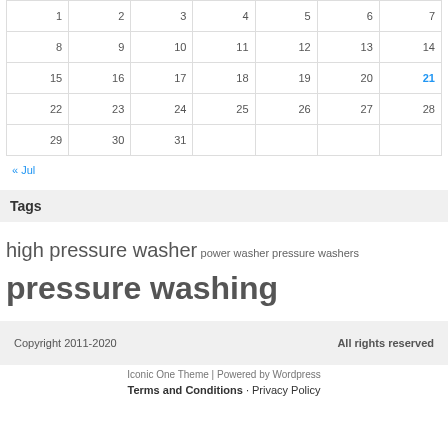| 1 | 2 | 3 | 4 | 5 | 6 | 7 |
| 8 | 9 | 10 | 11 | 12 | 13 | 14 |
| 15 | 16 | 17 | 18 | 19 | 20 | 21 |
| 22 | 23 | 24 | 25 | 26 | 27 | 28 |
| 29 | 30 | 31 |  |  |  |  |
« Jul
Tags
high pressure washer  power washer  pressure washers  pressure washing
Copyright 2011-2020    All rights reserved
Iconic One Theme | Powered by Wordpress
Terms and Conditions · Privacy Policy